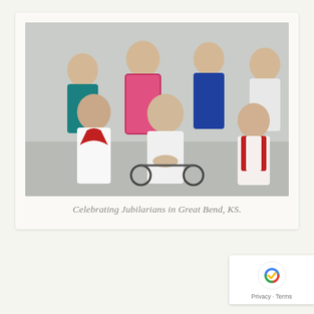[Figure (photo): Group photo of seven elderly women celebrating jubilarians in Great Bend, KS. Three women standing in the back row, one wearing a teal top, one in a pink top with floral jacket, one in a blue dress, one in white with glasses. In the front row, a woman with a red scarf/bow, an elderly woman in a white jacket seated in a wheelchair, and a woman in red.]
Celebrating Jubilarians in Great Bend, KS.